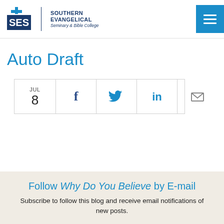SES Southern Evangelical Seminary & Bible College
Auto Draft
[Figure (other): Social sharing bar with date (JUL 8), Facebook icon, Twitter bird icon, LinkedIn icon, and email/envelope icon]
Follow Why Do You Believe by E-mail
Subscribe to follow this blog and receive email notifications of new posts.